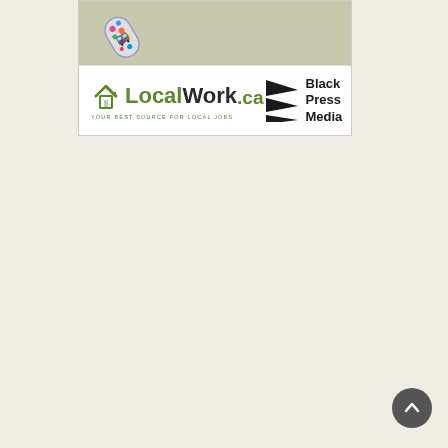[Figure (illustration): Advertisement box containing a map section at top with a colorful pill/capsule shaped icon, and a logo bar below showing LocalWork.ca (your best source for local jobs) on the left and Black Press Media on the right with a play-button style arrow logo.]
[Figure (other): Scroll-to-top button — dark grey circle with upward-pointing chevron arrow, bottom-right of page.]